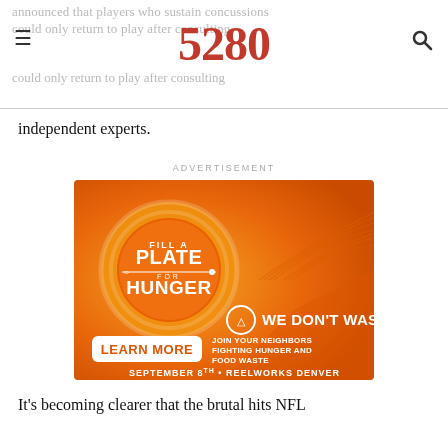announced that players who sustain concussions could only return to play after consulting
independent experts.
ADVERTISEMENT
[Figure (illustration): Advertisement for 'Fill a Plate for Hunger' by We Don't Waste. Orange gradient background with concentric circles. Central text: FILL A PLATE FOR HUNGER with a fork and knife icon. Below: WE DON'T WASTE with a plate/cutlery icon. A white rounded-rectangle button says LEARN MORE in orange. To the right: JOIN YOUR NEIGHBORS FIGHTING HUNGER AND FOOD WASTE. Bottom text: SEPTEMBER 8TH • REELWORKS DENVER.]
It's becoming clearer that the brutal hits NFL